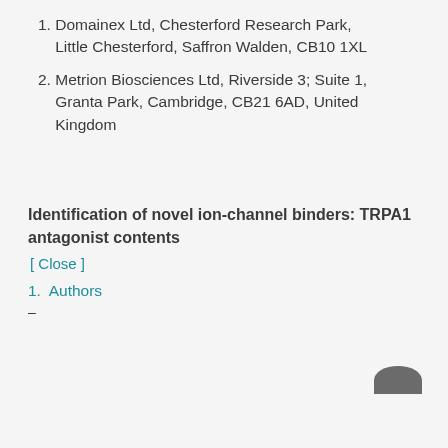1. Domainex Ltd, Chesterford Research Park, Little Chesterford, Saffron Walden, CB10 1XL
2. Metrion Biosciences Ltd, Riverside 3; Suite 1, Granta Park, Cambridge, CB21 6AD, United Kingdom
Identification of novel ion-channel binders: TRPA1 antagonist contents
[ Close ]
1.  Authors
—